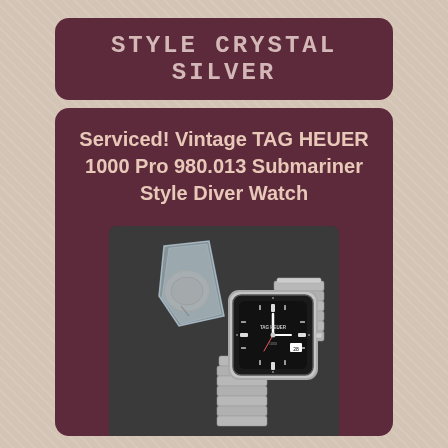Style Crystal Silver
Serviced! Vintage TAG HEUER 1000 Pro 980.013 Submariner Style Diver Watch
[Figure (photo): Photo of a TAG Heuer 1000 Pro 980.013 submariner style diver watch with black dial and stainless steel jubilee bracelet, alongside a plastic bag containing watch parts/crystal]